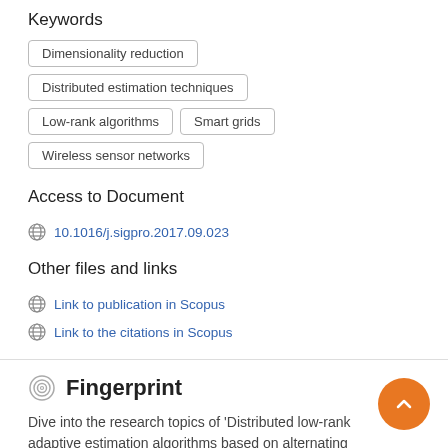Keywords
Dimensionality reduction
Distributed estimation techniques
Low-rank algorithms
Smart grids
Wireless sensor networks
Access to Document
10.1016/j.sigpro.2017.09.023
Other files and links
Link to publication in Scopus
Link to the citations in Scopus
Fingerprint
Dive into the research topics of 'Distributed low-rank adaptive estimation algorithms based on alternating